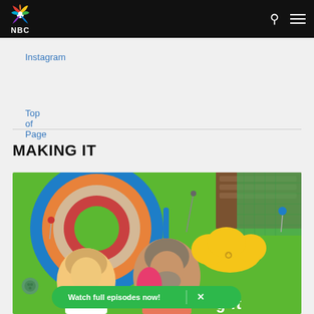NBC
Instagram
Top of Page
MAKING IT
[Figure (photo): Making It TV show key art featuring two hosts in front of colorful crafting backdrop with rainbow, clouds, and decorative elements. A green notification bar reads 'Watch full episodes now!' with an X close button.]